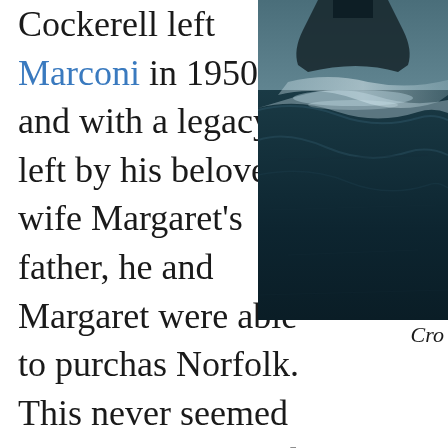Cockerell left Marconi in 1950, and with a legacy left by his beloved wife Margaret's father, he and Margaret were able to purchase Norfolk. This never seemed to Cockerell's mind turned back to use larger models on water
[Figure (photo): Aerial or close-up photo of a hovercraft or vessel moving through water, with visible wake/spray on a dark water surface, partially visible at top-right of the page.]
Cro